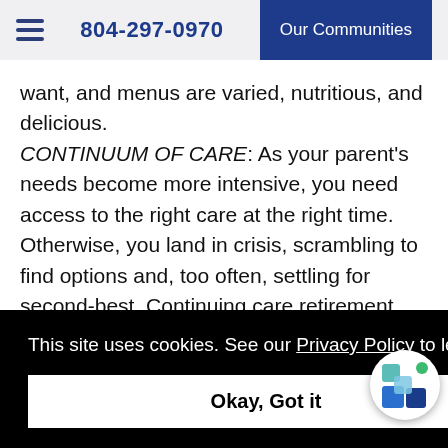804-297-0970  Our Communities
want, and menus are varied, nutritious, and delicious. CONTINUUM OF CARE: As your parent's needs become more intensive, you need access to the right care at the right time. Otherwise, you land in crisis, scrambling to find options and, too often, settling for second-best. Continuing care retirement community settings offer personalized care that changes as your parent's unique
This site uses cookies. See our Privacy Policy to learn more.
Okay, Got it
Memory Care, with plans tailored to your